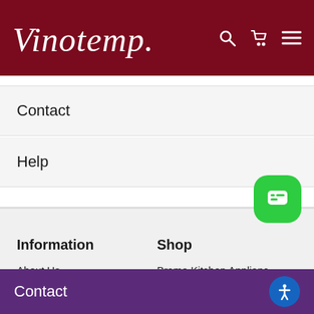Vinotemp
Contact
Help
Information
Shop
About Us
Brama Kitchen Appliances
Blog
Beverage Coolers
Manuals and Other Resources
Beverage Dispensers
Catalog Request
Wine Accessories
Contact